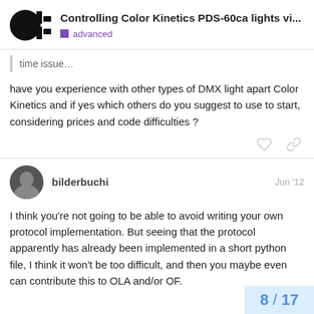Controlling Color Kinetics PDS-60ca lights vi... | advanced
time issue…
have you experience with other types of DMX light apart Color Kinetics and if yes which others do you suggest to use to start, considering prices and code difficulties ?
bilderbuchi  Jun '12
I think you're not going to be able to avoid writing your own protocol implementation. But seeing that the protocol apparently has already been implemented in a short python file, I think it won't be too difficult, and then you maybe even can contribute this to OLA and/or OF.
8 / 17